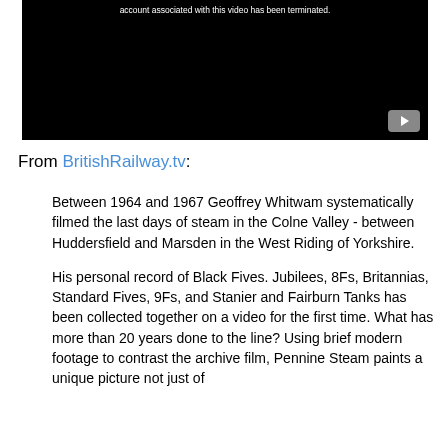[Figure (screenshot): Embedded YouTube video player showing an error message: 'account associated with this video has been terminated.' with a black background and YouTube play button icon in lower right.]
From BritishRailway.tv:
Between 1964 and 1967 Geoffrey Whitwam systematically filmed the last days of steam in the Colne Valley - between Huddersfield and Marsden in the West Riding of Yorkshire.
His personal record of Black Fives. Jubilees, 8Fs, Britannias, Standard Fives, 9Fs, and Stanier and Fairburn Tanks has been collected together on a video for the first time. What has more than 20 years done to the line? Using brief modern footage to contrast the archive film, Pennine Steam paints a unique picture not just of